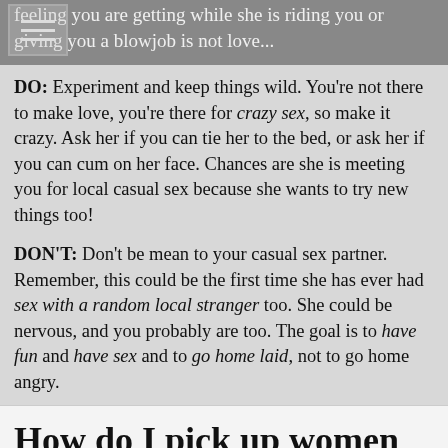feeling you are getting while she is riding you or giving you a blowjob is not love...
DO: Experiment and keep things wild. You're not there to make love, you're there for crazy sex, so make it crazy. Ask her if you can tie her to the bed, or ask her if you can cum on her face. Chances are she is meeting you for local casual sex because she wants to try new things too!
DON'T: Don't be mean to your casual sex partner. Remember, this could be the first time she has ever had sex with a random local stranger too. She could be nervous, and you probably are too. The goal is to have fun and have sex and to go home laid, not to go home angry.
How do I pick up women on adult dating sites?